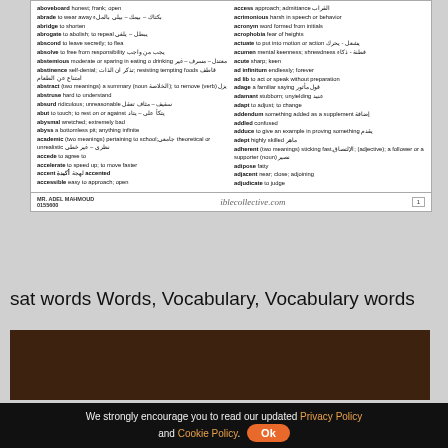[Figure (screenshot): Screenshot of a bilingual English-Arabic vocabulary/dictionary page showing SAT words with definitions in two columns, with a footer showing 'MR. ADEL MAHMOUD' and 'iblecollective.com' and page number 1]
sat words Words, Vocabulary, Vocabulary words
[Figure (photo): Dark brown textured background image]
We strongly encourage you to read our updated Privacy Policy and Cookie Policy. Ok